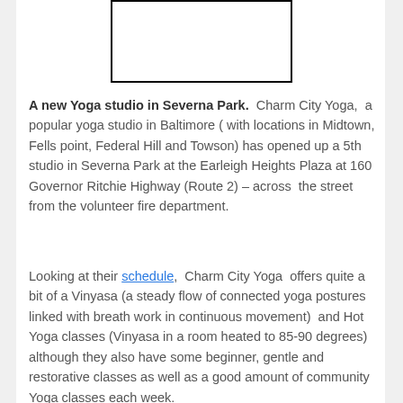[Figure (other): Rectangular image placeholder with black border, no visible content inside]
A new Yoga studio in Severna Park.  Charm City Yoga,  a popular yoga studio in Baltimore ( with locations in Midtown, Fells point, Federal Hill and Towson) has opened up a 5th studio in Severna Park at the Earleigh Heights Plaza at 160 Governor Ritchie Highway (Route 2) – across  the street from the volunteer fire department.
Looking at their schedule,  Charm City Yoga  offers quite a bit of a Vinyasa (a steady flow of connected yoga postures linked with breath work in continuous movement)  and Hot Yoga classes (Vinyasa in a room heated to 85-90 degrees) although they also have some beginner, gentle and restorative classes as well as a good amount of community Yoga classes each week.